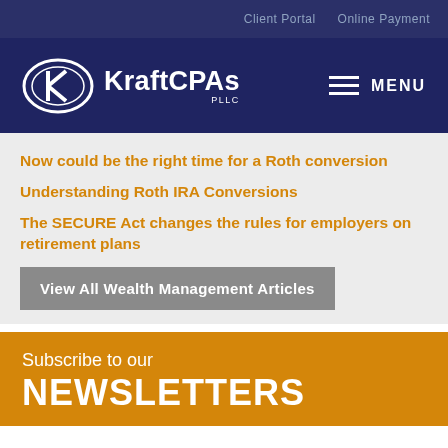Client Portal   Online Payment
[Figure (logo): KraftCPAs PLLC logo with oval K icon and hamburger menu with MENU text]
Now could be the right time for a Roth conversion
Understanding Roth IRA Conversions
The SECURE Act changes the rules for employers on retirement plans
View All Wealth Management Articles
Subscribe to our NEWSLETTERS